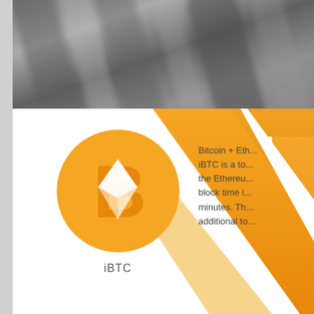[Figure (photo): Blurred dark metallic abstract background photo spanning the top of the page]
[Figure (logo): iBTC logo: orange circle with a combined Bitcoin B and Ethereum diamond symbol in white and orange]
iBTC
Bitcoin + Eth... iBTC is a to... the Ethereum block time i... minutes. Th... additional to...